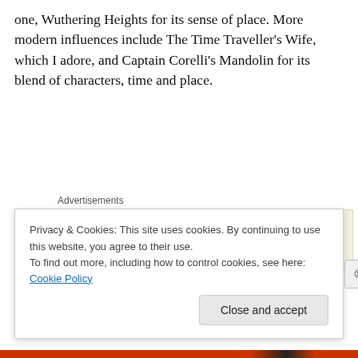one, Wuthering Heights for its sense of place. More modern influences include The Time Traveller's Wife, which I adore, and Captain Corelli's Mandolin for its blend of characters, time and place.
Advertisements
[Figure (other): WordPress advertisement banner: 'Professionally designed sites in less than a week' with WordPress logo]
My writing mentor is, without a doubt, my editor for
Privacy & Cookies: This site uses cookies. By continuing to use this website, you agree to their use.
To find out more, including how to control cookies, see here: Cookie Policy
Close and accept